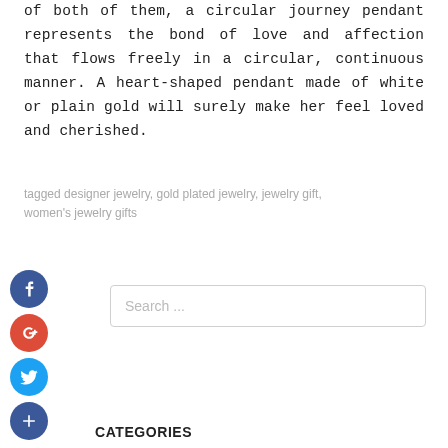of both of them, a circular journey pendant represents the bond of love and affection that flows freely in a circular, continuous manner. A heart-shaped pendant made of white or plain gold will surely make her feel loved and cherished.
tagged designer jewelry, gold plated jewelry, jewelry gift, women's jewelry gifts
[Figure (other): Social media share icons: Facebook (blue circle with f), Google+ (red circle with g+), Twitter (blue circle with bird), and a dark blue circle with plus sign]
[Figure (screenshot): Search input box with placeholder text 'Search ...']
CATEGORIES